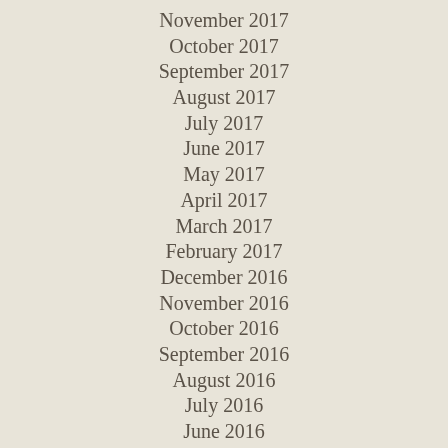November 2017
October 2017
September 2017
August 2017
July 2017
June 2017
May 2017
April 2017
March 2017
February 2017
December 2016
November 2016
October 2016
September 2016
August 2016
July 2016
June 2016
May 2016
April 2016
March 2016
February 2016